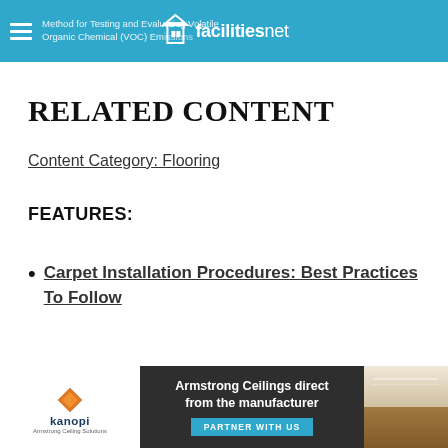Method for Testing and Evaluating Volatile Organic Chemical (VOC) Emissions | facilitiesnet
RELATED CONTENT
Content Category: Flooring
FEATURES:
Carpet Installation Procedures: Best Practices To Follow
[Figure (illustration): Advertisement banner: Armstrong Ceilings direct from the manufacturer, kanopi logo, PARTNER WITH US button, room photo]